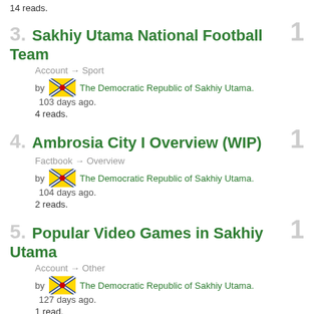14 reads.
3. Sakhiy Utama National Football Team — Account → Sport — by The Democratic Republic of Sakhiy Utama. 103 days ago. 4 reads.
4. Ambrosia City I Overview (WIP) — Factbook → Overview — by The Democratic Republic of Sakhiy Utama. 104 days ago. 2 reads.
5. Popular Video Games in Sakhiy Utama — Account → Other — by The Democratic Republic of Sakhiy Utama. 127 days ago. 1 read.
6. Cannatia Grand Prix 2022 Info — Account → Sport